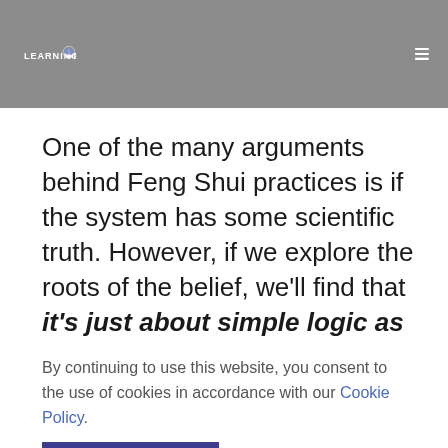LEARNING MIND
One of the many arguments behind Feng Shui practices is if the system has some scientific truth. However, if we explore the roots of the belief, we'll find that it's just about simple logic as well as man's natural instincts.
By continuing to use this website, you consent to the use of cookies in accordance with our Cookie Policy.
ACCEPT